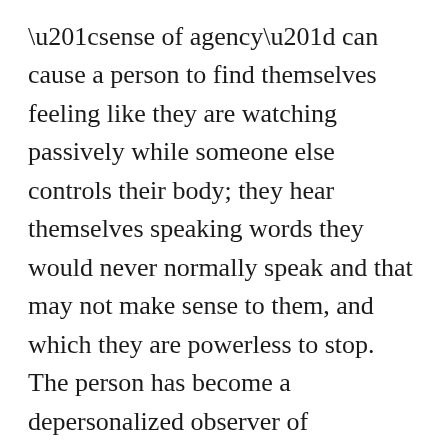“sense of agency” can cause a person to find themselves feeling like they are watching passively while someone else controls their body; they hear themselves speaking words they would never normally speak and that may not make sense to them, and which they are powerless to stop. The person has become a depersonalized observer of themselves. Some people describe this combined change of “sense of self” and “sense of agency” as feeling like an experience of possession, in a non-religious sense, or having their body “hijacked”. A person with DID may find that their body feels totally different during this time (e.g., like a small child